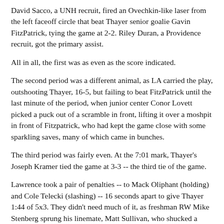David Sacco, a UNH recruit, fired an Ovechkin-like laser from the left faceoff circle that beat Thayer senior goalie Gavin FitzPatrick, tying the game at 2-2. Riley Duran, a Providence recruit, got the primary assist.
All in all, the first was as even as the score indicated.
The second period was a different animal, as LA carried the play, outshooting Thayer, 16-5, but failing to beat FitzPatrick until the last minute of the period, when junior center Conor Lovett picked a puck out of a scramble in front, lifting it over a moshpit in front of Fitzpatrick, who had kept the game close with some sparkling saves, many of which came in bunches.
The third period was fairly even. At the 7:01 mark, Thayer's Joseph Kramer tied the game at 3-3 -- the third tie of the game.
Lawrence took a pair of penalties -- to Mack Oliphant (holding) and Cole Telecki (slashing) -- 16 seconds apart to give Thayer 1:44 of 5x3. They didn't need much of it, as freshman RW Mike Stenberg sprung his linemate, Matt Sullivan, who shucked a Lawrence defender off his back, and beat Pientka to give Thayer a 4-3 lead with 6:02 remaining.
But Lawrence wasn't done, and in less than two minutes tied it up